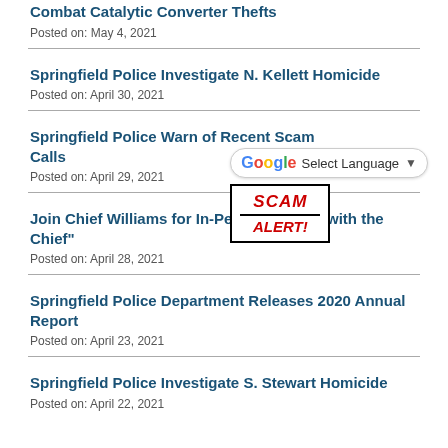Combat Catalytic Converter Thefts
Posted on: May 4, 2021
Springfield Police Investigate N. Kellett Homicide
Posted on: April 30, 2021
Springfield Police Warn of Recent Scam Calls
Posted on: April 29, 2021
[Figure (other): Google Translate language selector widget with 'Select Language' dropdown and a red SCAM ALERT stamp image]
Join Chief Williams for In-Person "Coffee with the Chief"
Posted on: April 28, 2021
Springfield Police Department Releases 2020 Annual Report
Posted on: April 23, 2021
Springfield Police Investigate S. Stewart Homicide
Posted on: April 22, 2021